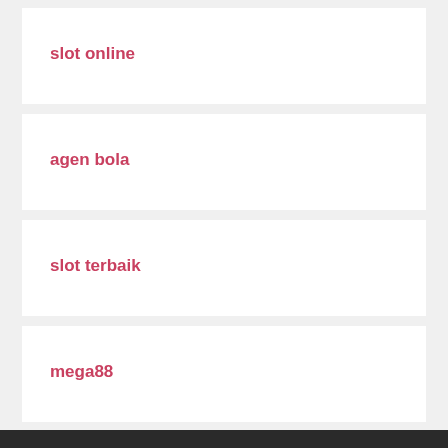slot online
agen bola
slot terbaik
mega88